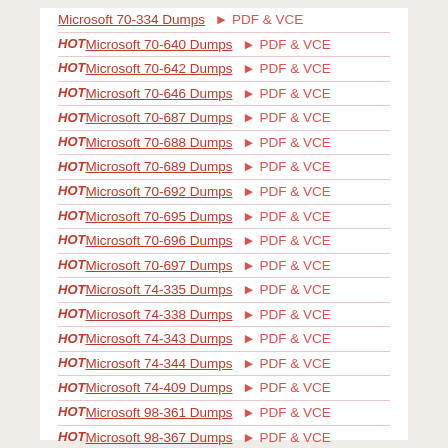Microsoft 70-334 Dumps ▶ PDF & VCE
HOT Microsoft 70-640 Dumps ▶ PDF & VCE
HOT Microsoft 70-642 Dumps ▶ PDF & VCE
HOT Microsoft 70-646 Dumps ▶ PDF & VCE
HOT Microsoft 70-687 Dumps ▶ PDF & VCE
HOT Microsoft 70-688 Dumps ▶ PDF & VCE
HOT Microsoft 70-689 Dumps ▶ PDF & VCE
HOT Microsoft 70-692 Dumps ▶ PDF & VCE
HOT Microsoft 70-695 Dumps ▶ PDF & VCE
HOT Microsoft 70-696 Dumps ▶ PDF & VCE
HOT Microsoft 70-697 Dumps ▶ PDF & VCE
HOT Microsoft 74-335 Dumps ▶ PDF & VCE
HOT Microsoft 74-338 Dumps ▶ PDF & VCE
HOT Microsoft 74-343 Dumps ▶ PDF & VCE
HOT Microsoft 74-344 Dumps ▶ PDF & VCE
HOT Microsoft 74-409 Dumps ▶ PDF & VCE
HOT Microsoft 98-361 Dumps ▶ PDF & VCE
HOT Microsoft 98-367 Dumps ▶ PDF & VCE